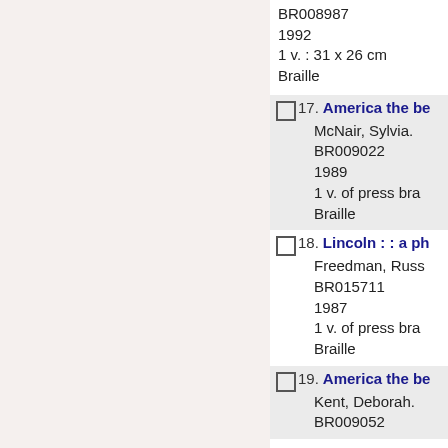BR008987
1992
1 v. : 31 x 26 cm
Braille
17. America the be...
McNair, Sylvia.
BR009022
1989
1 v. of press bra...
Braille
18. Lincoln : : a ph...
Freedman, Russ...
BR015711
1987
1 v. of press bra...
Braille
19. America the be...
Kent, Deborah.
BR009052